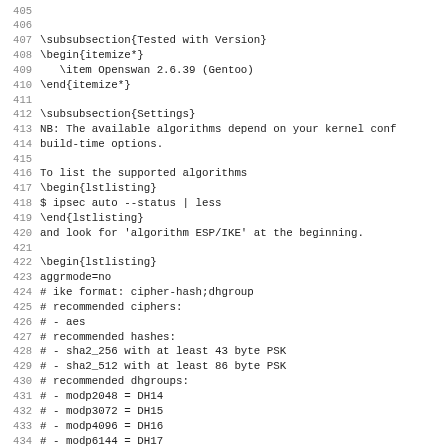405
406
407 \subsubsection{Tested with Version}
408 \begin{itemize*}
409   \item Openswan 2.6.39 (Gentoo)
410 \end{itemize*}
411
412 \subsubsection{Settings}
413 NB: The available algorithms depend on your kernel conf
414 build-time options.
415
416 To list the supported algorithms
417 \begin{lstlisting}
418 $ ipsec auto --status | less
419 \end{lstlisting}
420 and look for 'algorithm ESP/IKE' at the beginning.
421
422 \begin{lstlisting}
423 aggrmode=no
424 # ike format: cipher-hash;dhgroup
425 # recommended ciphers:
426 # - aes
427 # recommended hashes:
428 # - sha2_256 with at least 43 byte PSK
429 # - sha2_512 with at least 86 byte PSK
430 # recommended dhgroups:
431 # - modp2048 = DH14
432 # - modp3072 = DH15
433 # - modp4096 = DH16
434 # - modp6144 = DH17
435 # - modp8192 = DH18
436 ike=aes-sha2_256;modp2048
437 ...